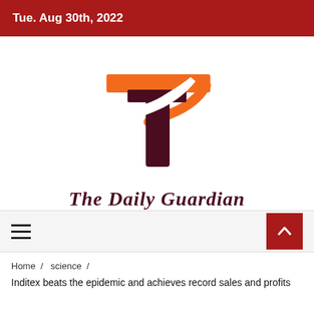Tue. Aug 30th, 2022
[Figure (logo): The Daily Guardian logo: stylized T letter in dark maroon with orange swoosh accent on top]
The Daily Guardian
≡  ∧
Home / science /
Inditex beats the epidemic and achieves record sales and profits